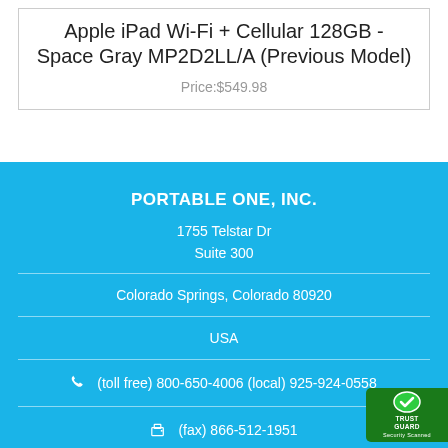Apple iPad Wi-Fi + Cellular 128GB - Space Gray MP2D2LL/A (Previous Model)
Price:$549.98
PORTABLE ONE, INC.
1755 Telstar Dr
Suite 300
Colorado Springs, Colorado 80920
USA
(toll free) 800-650-4006 (local) 925-924-0558
(fax) 866-512-1951
[Figure (logo): Trust Guard Security Scanned badge]